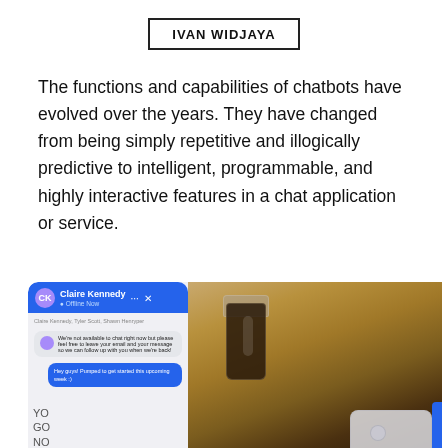IVAN WIDJAYA
The functions and capabilities of chatbots have evolved over the years. They have changed from being simply repetitive and illogically predictive to intelligent, programmable, and highly interactive features in a chat application or service.
[Figure (photo): Split image: left side shows a chatbot UI on a screen with a conversation between a bot (Claire Kennedy, Offline Now) and a user, showing automated messages. Right side shows a blurred background with a dark glass jar and a smartphone at the bottom.]